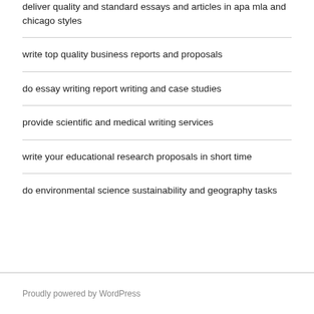deliver quality and standard essays and articles in apa mla and chicago styles
write top quality business reports and proposals
do essay writing report writing and case studies
provide scientific and medical writing services
write your educational research proposals in short time
do environmental science sustainability and geography tasks
Proudly powered by WordPress